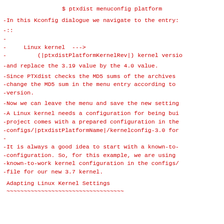$ ptxdist menuconfig platform
-In this Kconfig dialogue we navigate to the entry:
-::
-
-     Linux kernel  --->
-         (|ptxdistPlatformKernelRev|) kernel versio
-and replace the 3.19 value by the 4.0 value.
-Since PTXdist checks the MD5 sums of the archives
-change the MD5 sum in the menu entry according to
-version.
-Now we can leave the menu and save the new setting
-A Linux kernel needs a configuration for being bui
-project comes with a prepared configuration in the
-configs/|ptxdistPlatformName|/kernelconfig-3.0 for
-
-It is always a good idea to start with a known-to-
-configuration. So, for this example, we are using
-known-to-work kernel configuration in the configs/
-file for our new 3.7 kernel.
Adapting Linux Kernel Settings
~~~~~~~~~~~~~~~~~~~~~~~~~~~~~~~~~~